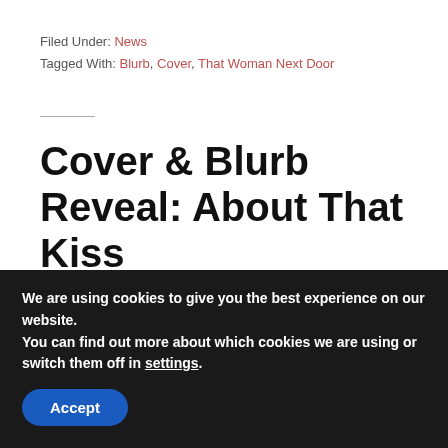Filed Under: News
Tagged With: Blurb, Cover, That Woman Next Door
Cover & Blurb Reveal: About That Kiss
July 6, 2021 by Harper Bliss — Leave a Comment
We are using cookies to give you the best experience on our website.
You can find out more about which cookies we are using or switch them off in settings.
Accept